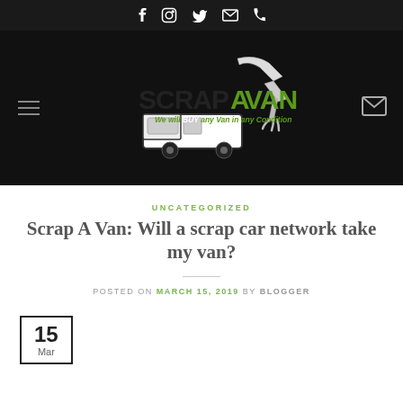Social links: Facebook, Instagram, Twitter, Email, Phone
[Figure (logo): Scrap A Van logo — crane lifting a van, text 'SCRAP A VAN We will BUY any Van in any Condition']
UNCATEGORIZED
Scrap A Van: Will a scrap car network take my van?
POSTED ON MARCH 15, 2019 BY BLOGGER
15 Mar